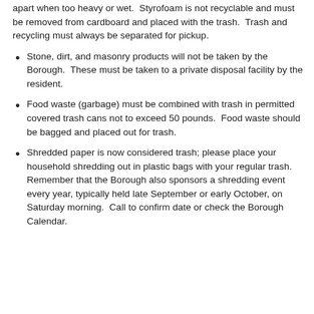apart when too heavy or wet.  Styrofoam is not recyclable and must be removed from cardboard and placed with the trash.  Trash and recycling must always be separated for pickup.
Stone, dirt, and masonry products will not be taken by the Borough.  These must be taken to a private disposal facility by the resident.
Food waste (garbage) must be combined with trash in permitted covered trash cans not to exceed 50 pounds.  Food waste should be bagged and placed out for trash.
Shredded paper is now considered trash; please place your household shredding out in plastic bags with your regular trash.  Remember that the Borough also sponsors a shredding event every year, typically held late September or early October, on Saturday morning.  Call to confirm date or check the Borough Calendar.